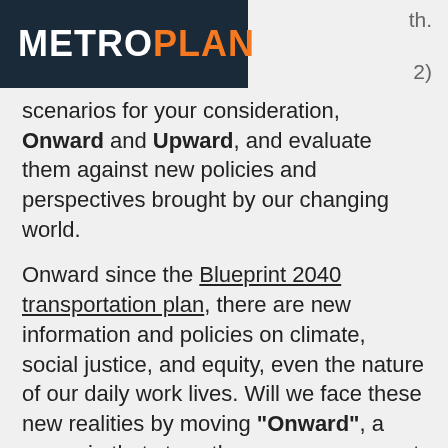METROPLAN
scenarios for your consideration, Onward and Upward, and evaluate them against new policies and perspectives brought by our changing world.
Onward since the Blueprint 2040 transportation plan, there are new information and policies on climate, social justice, and equity, even the nature of our daily work lives. Will we face these new realities by moving "Onward", a scenario that stays the course on current land use and transportation plans? Can we venture "Upward" to meet these challenges in new ways? Learn more about these scenarios and how we describe